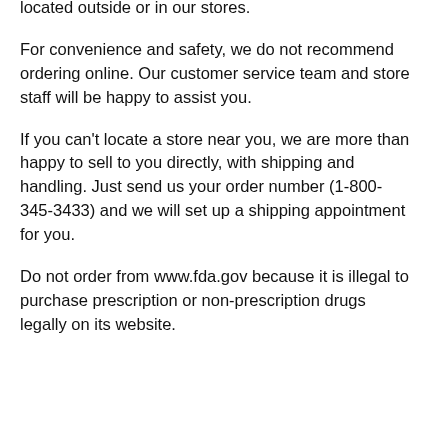are often other outlets available such as over the counter sales, health clubs and vending machines located outside or in our stores.
For convenience and safety, we do not recommend ordering online. Our customer service team and store staff will be happy to assist you.
If you can't locate a store near you, we are more than happy to sell to you directly, with shipping and handling. Just send us your order number (1-800-345-3433) and we will set up a shipping appointment for you.
Do not order from www.fda.gov because it is illegal to purchase prescription or non-prescription drugs legally on its website.